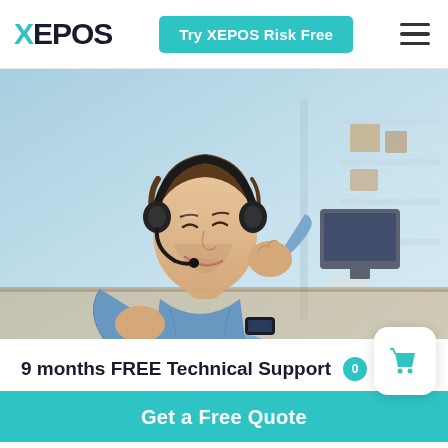XEPOS | Try XEPOS Risk Free
[Figure (photo): Young man wearing a headset and smiling, dressed in a blue shirt, touching the microphone of his headset, with a blurred office/warehouse background. Customer support representative photo.]
9 months FREE Technical Support
Get a Free Quote